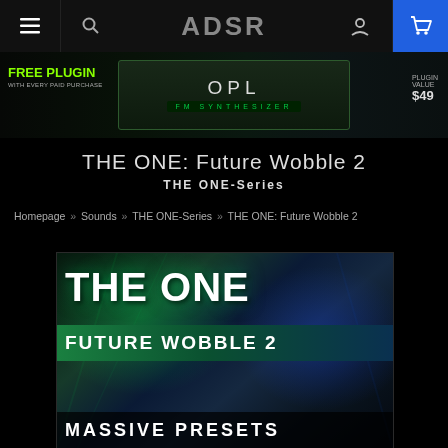ADSR — Navigation bar with hamburger menu, search, logo, account, cart
[Figure (screenshot): ADSR promotional banner: FREE PLUGIN WITH EVERY PAID PURCHASE, OPL FM Synthesizer plugin image, $49 price badge]
THE ONE: Future Wobble 2
THE ONE-Series
Homepage » Sounds » THE ONE-Series » THE ONE: Future Wobble 2
[Figure (photo): Product cover art: THE ONE Future Wobble 2 Massive Presets — dark teal/green abstract background with bold white text]